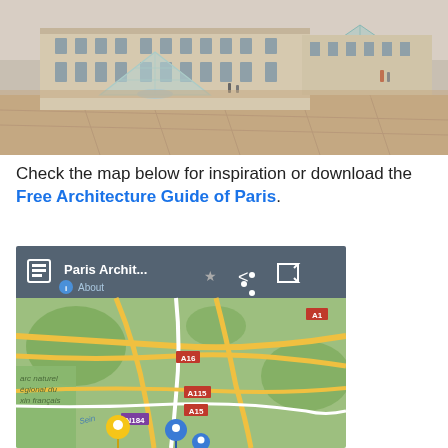[Figure (photo): Photograph of the Louvre Museum courtyard in Paris, showing the glass pyramid and the classical stone facade of the museum building, with visitors and a fountain visible.]
Check the map below for inspiration or download the Free Architecture Guide of Paris.
[Figure (screenshot): Screenshot of a Google Maps embed showing the Paris Architecture map. The header shows 'Paris Archit...' with About, share, star, and fullscreen icons. The map shows the Paris region with roads, the A1, A16, A115, A15, N184 highway labels, and location markers including yellow and blue pins. Green areas show parks and forests around Paris.]